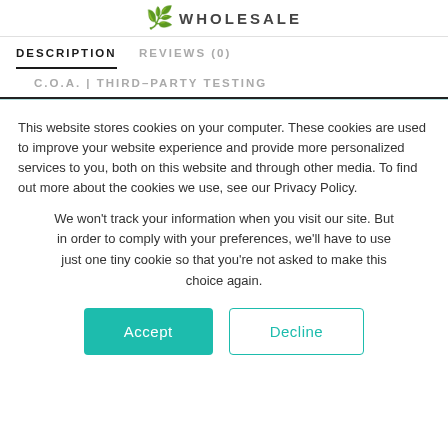WHOLESALE
DESCRIPTION
REVIEWS (0)
C.O.A. | THIRD–PARTY TESTING
This website stores cookies on your computer. These cookies are used to improve your website experience and provide more personalized services to you, both on this website and through other media. To find out more about the cookies we use, see our Privacy Policy.
We won't track your information when you visit our site. But in order to comply with your preferences, we'll have to use just one tiny cookie so that you're not asked to make this choice again.
Accept
Decline